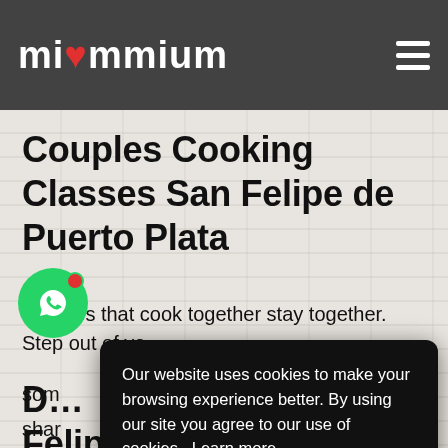miummium
Couples Cooking Classes San Felipe de Puerto Plata
Couples that cook together stay together. Step out of yo[ur comfort zone and learn to cook] some[thing new together and] share[…]
Our website uses cookies to make your browsing experience better. By using our site you agree to our use of cookies. Learn more
Yes
D[iscover Couples Cooking Classes San] Felipe de Puerto Plata